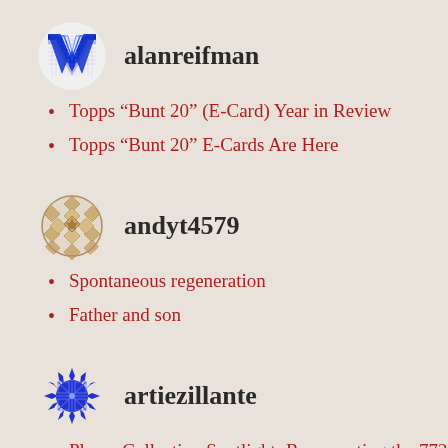[Figure (logo): Blue decorative W letter avatar icon for user alanreifman]
alanreifman
Topps “Bunt 20” (E-Card) Year in Review
Topps “Bunt 20” E-Cards Are Here
[Figure (logo): Gold/tan geometric diamond pattern circular avatar icon for user andyt4579]
andyt4579
Spontaneous regeneration
Father and son
[Figure (logo): Blue spiky/starburst circular avatar icon for user artiezillante]
artiezillante
Player Collection Spotlight: Representing the 772 (or 561 or 407 or 305)
Player Collection Spotlight –